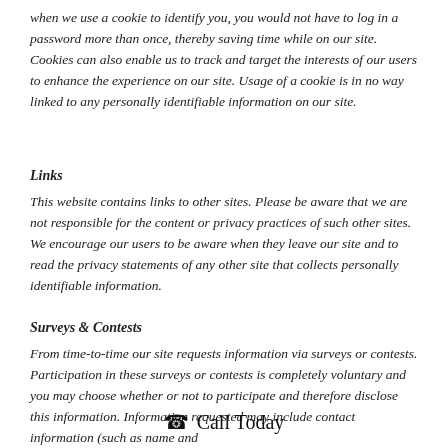when we use a cookie to identify you, you would not have to log in a password more than once, thereby saving time while on our site. Cookies can also enable us to track and target the interests of our users to enhance the experience on our site. Usage of a cookie is in no way linked to any personally identifiable information on our site.
Links
This website contains links to other sites. Please be aware that we are not responsible for the content or privacy practices of such other sites. We encourage our users to be aware when they leave our site and to read the privacy statements of any other site that collects personally identifiable information.
Surveys & Contests
From time-to-time our site requests information via surveys or contests. Participation in these surveys or contests is completely voluntary and you may choose whether or not to participate and therefore disclose this information. Information requested may include contact information (such as name and
Call Today